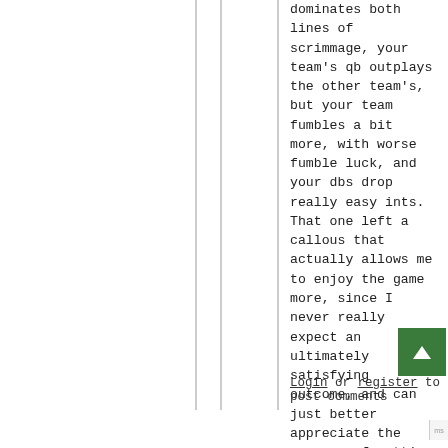dominates both lines of scrimmage, your team's qb outplays the other team's, but your team fumbles a bit more, with worse fumble luck, and your dbs drop really easy ints. That one left a callous that actually allows me to enjoy the game more, since I never really expect an ultimately satisfying outcome, and can just better appreciate the process of getting to the season's last defeat. So I'm glad it happened, damnit! Don't try to convince me otherwise! I'll fight you!!!! AARRRRRGHHH!
Login or register to post comments